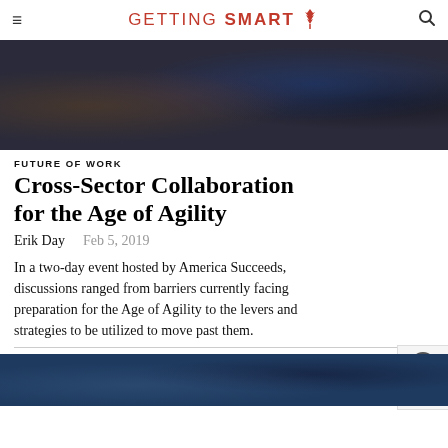GETTING SMART
[Figure (photo): Panel discussion event photo, people seated on stage with blue and purple backdrop lighting]
FUTURE OF WORK
Cross-Sector Collaboration for the Age of Agility
Erik Day   Feb 5, 2019
In a two-day event hosted by America Succeeds, discussions ranged from barriers currently facing preparation for the Age of Agility to the levers and strategies to be utilized to move past them.
[Figure (photo): Close-up blue-toned photo, partial view of person or object]